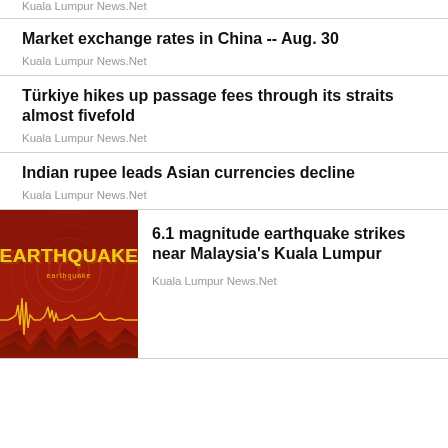Kuala Lumpur News.Net
Market exchange rates in China -- Aug. 30
Kuala Lumpur News.Net
Türkiye hikes up passage fees through its straits almost fivefold
Kuala Lumpur News.Net
Indian rupee leads Asian currencies decline
Kuala Lumpur News.Net
[Figure (photo): Red earthquake graphic with seismic waveform and the word EARTHQUAKE in large text]
6.1 magnitude earthquake strikes near Malaysia's Kuala Lumpur
Kuala Lumpur News.Net